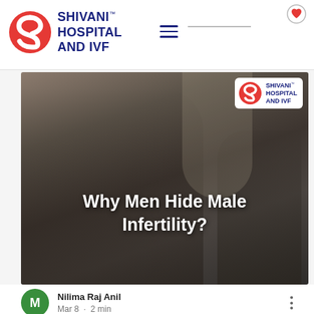SHIVANI™ HOSPITAL AND IVF
[Figure (photo): A couple sitting apart on a couch looking distressed, with text overlay 'Why Men Hide Male Infertility?' and Shivani Hospital and IVF logo in the top right corner of the image.]
Nilima Raj Anil
Mar 8 · 2 min
Why Do Most Men Hide